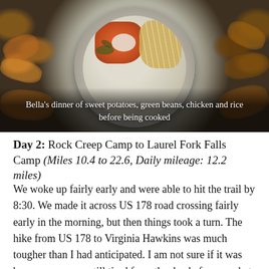[Figure (photo): A metal bowl containing sweet potatoes (orange, diced), green beans, chicken (shredded), and rice, placed on a bed of autumn leaves on the ground. Photo taken from above.]
Bella's dinner of sweet potatoes, green beans, chicken and rice before being cooked
Day 2: Rock Creep Camp to Laurel Fork Falls Camp (Miles 10.4 to 22.6, Daily mileage: 12.2 miles)
We woke up fairly early and were able to hit the trail by 8:30. We made it across US 178 road crossing fairly early in the morning, but then things took a turn. The hike from US 178 to Virginia Hawkins was much tougher than I had anticipated. I am not sure if it was because we were still tired from the day before or what. We made it to Virginia Hawkins area around lunch time